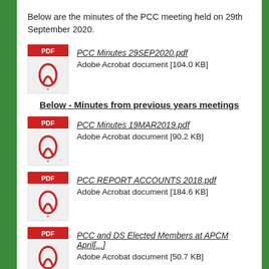Below are the minutes of the PCC meeting held on 29th September 2020.
[Figure (other): PDF file icon with red header and Acrobat logo]
PCC Minutes 29SEP2020.pdf
Adobe Acrobat document [104.0 KB]
Below - Minutes from previous years meetings
[Figure (other): PDF file icon with red header and Acrobat logo]
PCC Minutes 19MAR2019.pdf
Adobe Acrobat document [90.2 KB]
[Figure (other): PDF file icon with red header and Acrobat logo]
PCC REPORT ACCOUNTS 2018.pdf
Adobe Acrobat document [184.6 KB]
[Figure (other): PDF file icon with red header and Acrobat logo]
PCC and DS Elected Members at APCM April[...]
Adobe Acrobat document [50.7 KB]
[Figure (other): PDF file icon with red header and Acrobat logo]
PCC Minutes 20MAR18.pdf